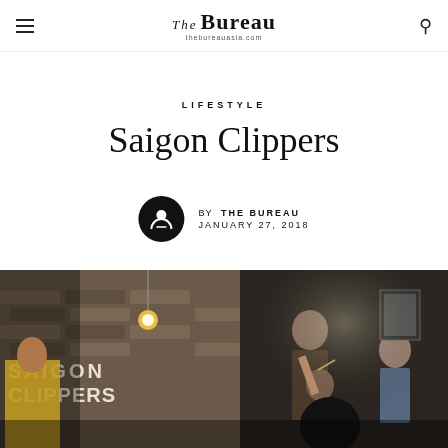The Bureau — thebureauasia.com
LIFESTYLE
Saigon Clippers
BY THE BUREAU
JANUARY 27, 2018
[Figure (photo): Interior of Saigon Clippers barbershop — a barber cutting a client's hair in a brick-walled shop with Edison bulb lighting and vintage decor; sign reading SAIGON CLIPPERS visible in background]